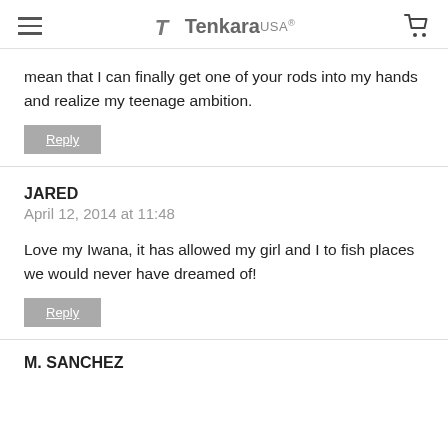Tenkara USA
mean that I can finally get one of your rods into my hands and realize my teenage ambition.
Reply
JARED
April 12, 2014 at 11:48

Love my Iwana, it has allowed my girl and I to fish places we would never have dreamed of!
Reply
M. SANCHEZ